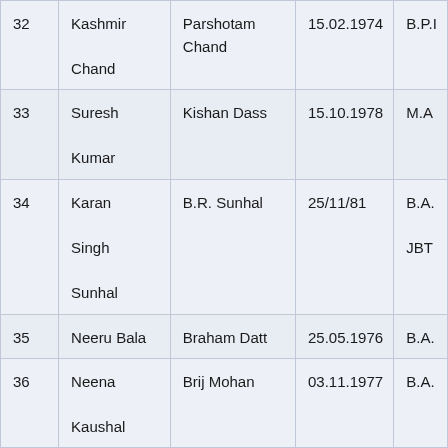| Sr. No. | Name | Father's Name | Date of Birth | Qualification |
| --- | --- | --- | --- | --- |
| 32 | Kashmir Chand | Parshotam Chand | 15.02.1974 | B.P.I |
| 33 | Suresh Kumar | Kishan Dass | 15.10.1978 | M.A |
| 34 | Karan Singh Sunhal | B.R. Sunhal | 25/11/81 | B.A. JBT |
| 35 | Neeru Bala | Braham Datt | 25.05.1976 | B.A. |
| 36 | Neena Kaushal | Brij Mohan | 03.11.1977 | B.A. |